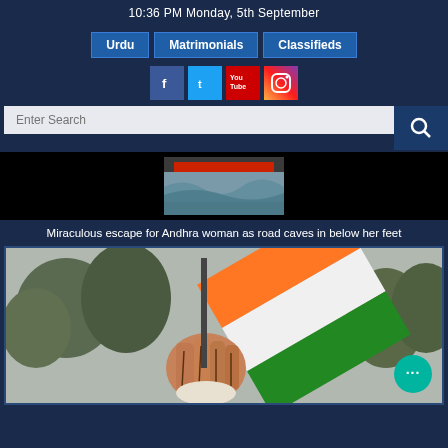10:36 PM Monday, 5th September
Urdu | Matrimonials | Classifieds
[Figure (other): Social media icons: Facebook, Twitter, YouTube, Instagram]
[Figure (other): Search bar with text input and search icon button]
[Figure (photo): News thumbnail showing flood scene or road cave-in]
Miraculous escape for Andhra woman as road caves in below her feet
[Figure (photo): Congress party flag (Indian National Congress tricolor hand logo) being held up against a grey sky]